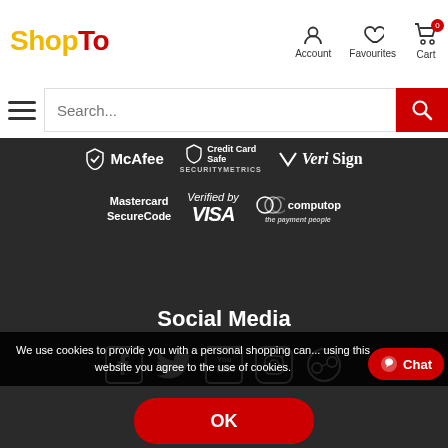[Figure (logo): ShopTo logo with Shop in yellow/gold and To in red]
[Figure (infographic): Navigation icons: Account (person icon), Favourites (heart icon), Cart (cart icon with 0 badge)]
[Figure (infographic): Hamburger menu icon and search bar with red search button]
[Figure (infographic): Trust/security logos: McAfee, Credit Card Safe SecurityMetrics, VeriSign, Mastercard SecureCode, Verified by VISA, Computop the payment people]
Social Media
[Figure (infographic): Social media icons: Facebook, Twitter, YouTube, Instagram, and another icon]
We use cookies to provide you with a personal shopping can... using this website you agree to the use of cookies.
[Figure (infographic): Chat button with messenger icon]
[Figure (infographic): OK button in red rounded rectangle]